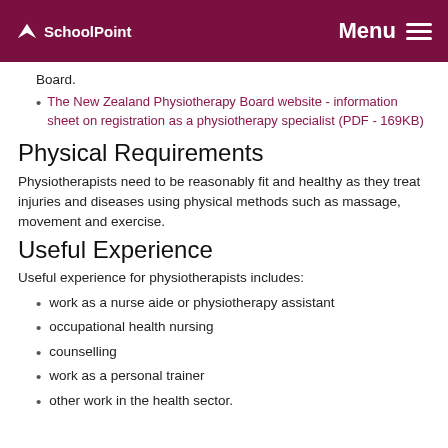SchoolPoint  Menu
Board.
The New Zealand Physiotherapy Board website - information sheet on registration as a physiotherapy specialist (PDF - 169KB)
Physical Requirements
Physiotherapists need to be reasonably fit and healthy as they treat injuries and diseases using physical methods such as massage, movement and exercise.
Useful Experience
Useful experience for physiotherapists includes:
work as a nurse aide or physiotherapy assistant
occupational health nursing
counselling
work as a personal trainer
other work in the health sector.